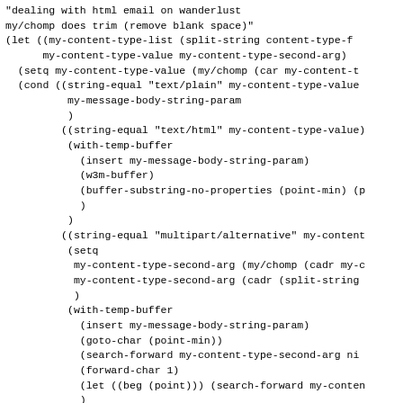"dealing with html email on wanderlust
my/chomp does trim (remove blank space)"
(let ((my-content-type-list (split-string content-type-f
      my-content-type-value my-content-type-second-arg)
  (setq my-content-type-value (my/chomp (car my-content-t
  (cond ((string-equal "text/plain" my-content-type-value
          my-message-body-string-param
          )
         ((string-equal "text/html" my-content-type-value)
          (with-temp-buffer
            (insert my-message-body-string-param)
            (w3m-buffer)
            (buffer-substring-no-properties (point-min) (p
            )
          )
         ((string-equal "multipart/alternative" my-content
          (setq
           my-content-type-second-arg (my/chomp (cadr my-c
           my-content-type-second-arg (cadr (split-string
           )
          (with-temp-buffer
            (insert my-message-body-string-param)
            (goto-char (point-min))
            (search-forward my-content-type-second-arg ni
            (forward-char 1)
            (let ((beg (point))) (search-forward my-conten
            )
          (with-temp-buffer
            (insert (current-kill 0))
            (w3m-buffer)